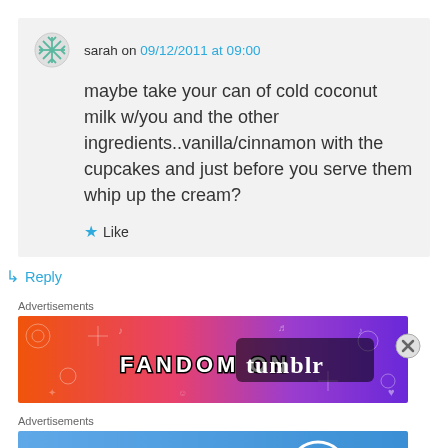sarah on 09/12/2011 at 09:00
maybe take your can of cold coconut milk w/you and the other ingredients..vanilla/cinnamon with the cupcakes and just before you serve them whip up the cream?
★ Like
↳ Reply
Advertisements
[Figure (illustration): Fandom on Tumblr advertisement banner with colorful orange to purple gradient background]
Advertisements
[Figure (illustration): WordPress.com advertisement: Simplified pricing for everything you need.]